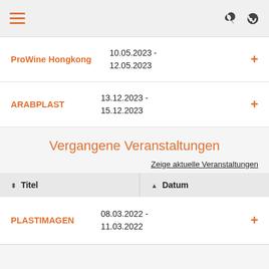Menu, Search, Globe icons
ProWine Hongkong | 10.05.2023 - 12.05.2023
ARABPLAST | 13.12.2023 - 15.12.2023
Vergangene Veranstaltungen
Zeige aktuelle Veranstaltungen
| Titel | Datum |
| --- | --- |
| PLASTIMAGEN | 08.03.2022 - 11.03.2022 |
PLASTIMAGEN | 08.03.2022 - 11.03.2022